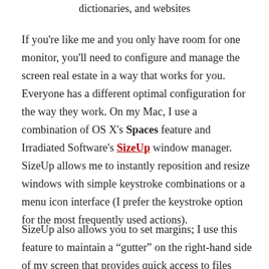dictionaries, and websites
If you're like me and you only have room for one monitor, you'll need to configure and manage the screen real estate in a way that works for you. Everyone has a different optimal configuration for the way they work. On my Mac, I use a combination of OS X's Spaces feature and Irradiated Software's SizeUp window manager. SizeUp allows me to instantly reposition and resize windows with simple keystroke combinations or a menu icon interface (I prefer the keystroke option for the most frequently used actions).
SizeUp also allows you to set margins; I use this feature to maintain a “gutter” on the right-hand side of my screen that provides quick access to files stored